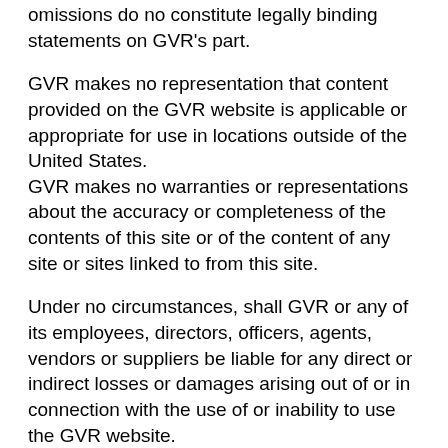omissions do no constitute legally binding statements on GVR's part.
GVR makes no representation that content provided on the GVR website is applicable or appropriate for use in locations outside of the United States.
GVR makes no warranties or representations about the accuracy or completeness of the contents of this site or of the content of any site or sites linked to from this site.
Under no circumstances, shall GVR or any of its employees, directors, officers, agents, vendors or suppliers be liable for any direct or indirect losses or damages arising out of or in connection with the use of or inability to use the GVR website.
This is a comprehensive limitation of liability that applies to all losses and damages of any kind (whether